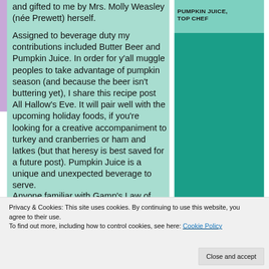and gifted to me by Mrs. Molly Weasley (née Prewett) herself.
PUMPKIN JUICE, TOP CHEF
Assigned to beverage duty my contributions included Butter Beer and Pumpkin Juice. In order for y'all muggle peoples to take advantage of pumpkin season (and because the beer isn't buttering yet), I share this recipe post All Hallow's Eve. It will pair well with the upcoming holiday foods, if you're looking for a creative accompaniment to turkey and cranberries or ham and latkes (but that heresy is best saved for a future post). Pumpkin Juice is a unique and unexpected beverage to serve.
Anyone familiar with Gamp's Law of
Privacy & Cookies: This site uses cookies. By continuing to use this website, you agree to their use. To find out more, including how to control cookies, see here: Cookie Policy